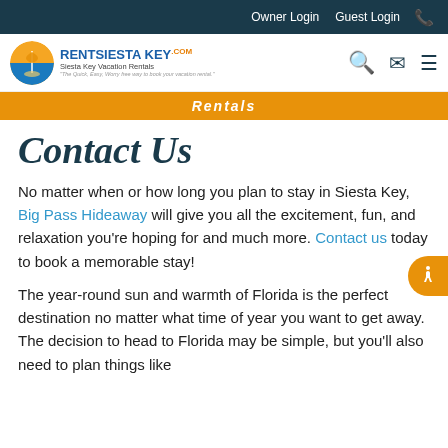Owner Login   Guest Login   📞
[Figure (logo): RentSiestaKey.com logo with circle icon, text 'RENTSIESTA KEY.com', 'Siesta Key Vacation Rentals', tagline 'The Quick, Easy, Worry free way to book your vacation rental.']
Contact Us
No matter when or how long you plan to stay in Siesta Key, Big Pass Hideaway will give you all the excitement, fun, and relaxation you're hoping for and much more. Contact us today to book a memorable stay!
The year-round sun and warmth of Florida is the perfect destination no matter what time of year you want to get away. The decision to head to Florida may be simple, but you'll also need to plan things like